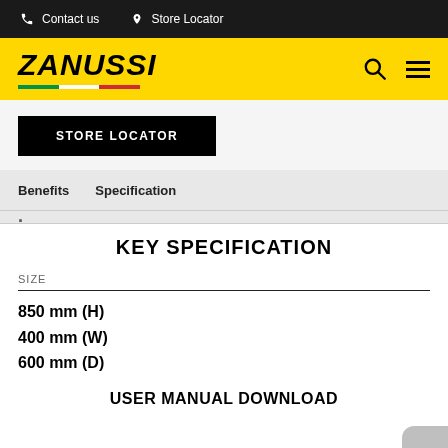Contact us   Store Locator
[Figure (logo): Zanussi logo in yellow header bar with Italian flag underline, search icon and hamburger menu]
STORE LOCATOR
Benefits   Specification
KEY SPECIFICATION
SIZE
850 mm (H)
400 mm (W)
600 mm (D)
USER MANUAL DOWNLOAD